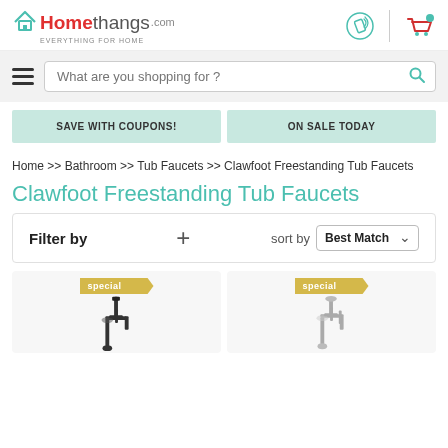[Figure (logo): Homethangs.com logo with house icon, red 'Home' and gray 'thangs' text, tagline 'Everything for Home', plus phone and cart icons]
[Figure (screenshot): Search bar with hamburger menu icon and teal search icon, placeholder text 'What are you shopping for ?']
SAVE WITH COUPONS!
ON SALE TODAY
Home >> Bathroom >> Tub Faucets >> Clawfoot Freestanding Tub Faucets
Clawfoot Freestanding Tub Faucets
Filter by  +  sort by Best Match
[Figure (photo): Two product cards each with a 'special' badge and a clawfoot tub faucet product image on gray background]